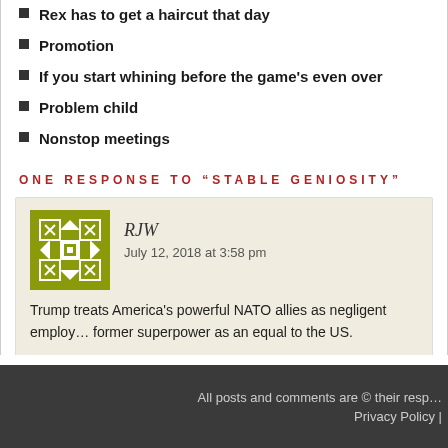Rex has to get a haircut that day
Promotion
If you start whining before the game's even over
Problem child
Nonstop meetings
ONE RESPONSE TO “STABLE GENIOSITY”
RJW
July 12, 2018 at 3:58 pm
Trump treats America's powerful NATO allies as negligent employees, and treats a former superpower as an equal to the US.

I'm surprised that he didn’t fire Germany.
All posts and comments are © their resp…
Privacy Policy |